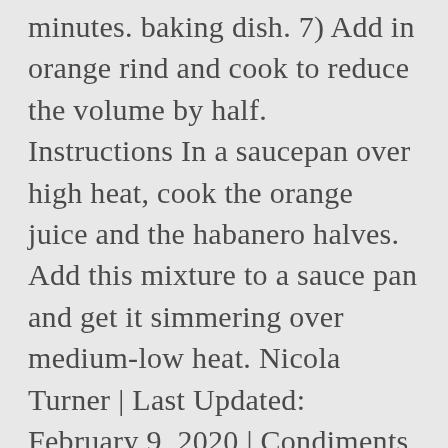minutes. baking dish. 7) Add in orange rind and cook to reduce the volume by half. Instructions In a saucepan over high heat, cook the orange juice and the habanero halves. Add this mixture to a sauce pan and get it simmering over medium-low heat. Nicola Turner | Last Updated: February 9, 2020 | Condiments, Spicy Recipes, Vegetarian, You are here: Home / Condiments / Habanero Morning Marmalade (No Pectin). We also get your email address to automatically create an account for you in our website. Adding a full orange adds to the flavor and also offers up a delicious texture. Enjoy our 80+ page ebook profiling 20+ popular peppers, get 15% off our spices, and receive spicy